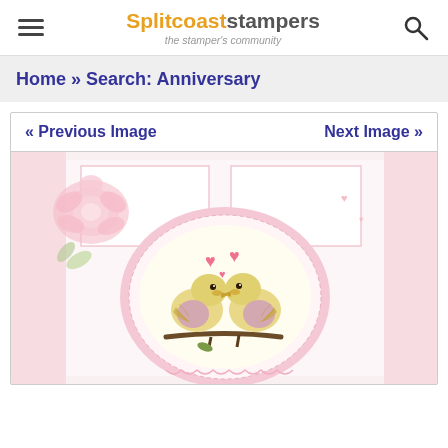Splitcoaststampers — the stamper's community
Home » Search: Anniversary
« Previous Image    Next Image »
[Figure (photo): A handmade anniversary card featuring two love birds (budgerigars) on a branch inside a scalloped oval circle, with pink hearts above them, set against a pink and white background with layered panels and a large pink rose.]